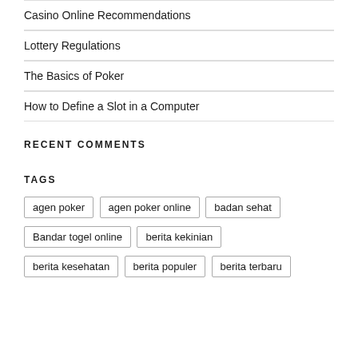Casino Online Recommendations
Lottery Regulations
The Basics of Poker
How to Define a Slot in a Computer
RECENT COMMENTS
TAGS
agen poker
agen poker online
badan sehat
Bandar togel online
berita kekinian
berita kesehatan
berita populer
berita terbaru